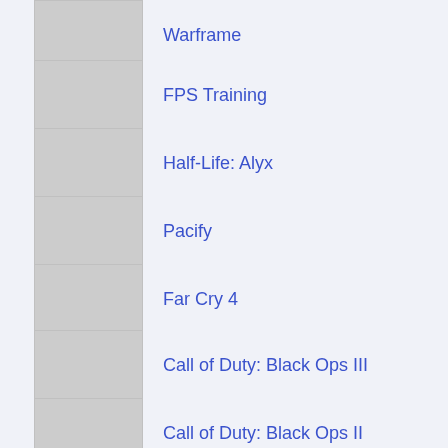Warframe
FPS Training
Half-Life: Alyx
Pacify
Far Cry 4
Call of Duty: Black Ops III
Call of Duty: Black Ops II